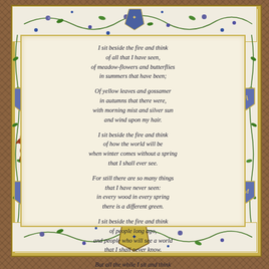[Figure (illustration): Medieval illuminated manuscript style page with decorative floral and vine border in green, purple and blue, heraldic shields in corners, featuring a poem by J.R.R. Tolkien written in calligraphic script on a parchment-colored background within a gold-bordered text panel. The outer frame has a wicker/basketweave texture in brown.]
I sit beside the fire and think of all that I have seen, of meadow-flowers and butterflies in summers that have been;

Of yellow leaves and gossamer in autumns that there were, with morning mist and silver sun and wind upon my hair.

I sit beside the fire and think of how the world will be when winter comes without a spring that I shall ever see.

For still there are so many things that I have never seen: in every wood in every spring there is a different green.

I sit beside the fire and think of people long ago, and people who will see a world that I shall never know.

But all the while I sit and think of times there were before, I listen for returning feet and voices at the door.

- J.R.R. Tolkien